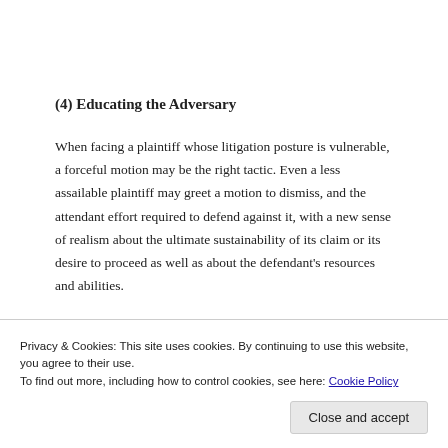(4) Educating the Adversary
When facing a plaintiff whose litigation posture is vulnerable, a forceful motion may be the right tactic. Even a less assailable plaintiff may greet a motion to dismiss, and the attendant effort required to defend against it, with a new sense of realism about the ultimate sustainability of its claim or its desire to proceed as well as about the defendant's resources and abilities.
Privacy & Cookies: This site uses cookies. By continuing to use this website, you agree to their use.
To find out more, including how to control cookies, see here: Cookie Policy
Close and accept